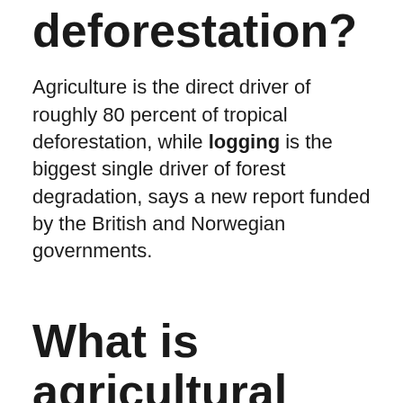deforestation?
Agriculture is the direct driver of roughly 80 percent of tropical deforestation, while logging is the biggest single driver of forest degradation, says a new report funded by the British and Norwegian governments.
What is agricultural extension?
Agricultural extension (also known as agricultural advisory services) plays a crucial role in boosting agricultural productivity, increasing food security,